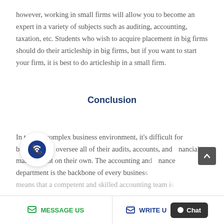however, working in small firms will allow you to become an expert in a variety of subjects such as auditing, accounting, taxation, etc. Students who wish to acquire placement in big firms should do their articleship in big firms, but if you want to start your firm, it is best to do articleship in a small firm.
Conclusion
In today's complex business environment, it's difficult for businesses to oversee all of their audits, accounts, and financial management on their own. The accounting and finance department is the backbone of every business means that a competent and skilled accounting team is